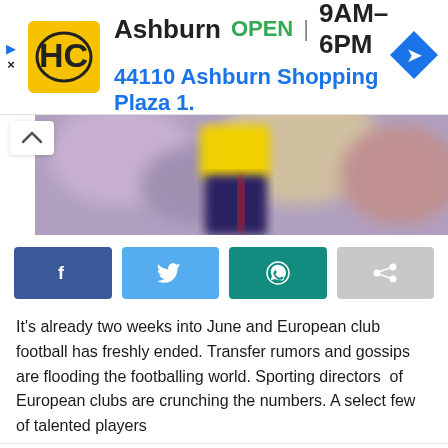[Figure (screenshot): Advertisement banner for HC store in Ashburn showing yellow logo, OPEN status, hours 9AM-6PM, address 44110 Ashburn Shopping Plaza 1., and blue navigation diamond icon]
[Figure (photo): Partial photo of a football/soccer player wearing yellow top and dark bottoms, blurred crowd background]
[Figure (screenshot): Social share buttons: Facebook (blue), Twitter (light blue), WhatsApp (teal/green), and a grey share button]
It's already two weeks into June and European club football has freshly ended. Transfer rumors and gossips are flooding the footballing world. Sporting directors of European clubs are crunching the numbers. A select few of talented players
This website uses cookies to improve your experience. We'll assume you're ok with this, but you can opt-out if you wish.
Cookie settings   ACCEPT